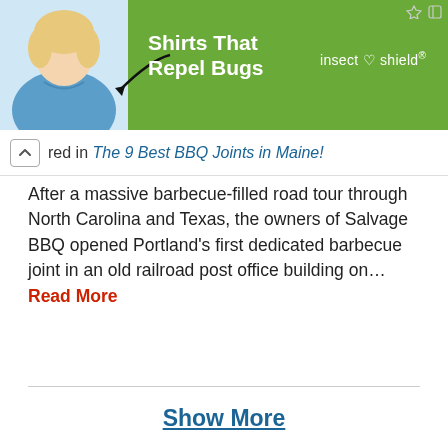[Figure (illustration): Advertisement banner: green background with woman in blue shirt, arrow pointing to shirt, text 'Shirts That Repel Bugs' and 'insect shield' logo]
red in The 9 Best BBQ Joints in Maine!
After a massive barbecue-filled road tour through North Carolina and Texas, the owners of Salvage BBQ opened Portland's first dedicated barbecue joint in an old railroad post office building on… Read More
Show More
Events around Falmouth, ME
AUG 24 Comedy Bang! Bang! Live! 7:00 PM